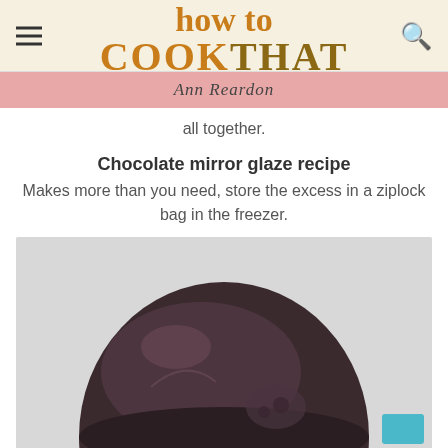how to COOK THAT
Ann Reardon
all together.
Chocolate mirror glaze recipe
Makes more than you need, store the excess in a ziplock bag in the freezer.
[Figure (photo): A dark chocolate mirror glaze dome-shaped dessert on a light grey background, with reflections visible on the glossy surface.]